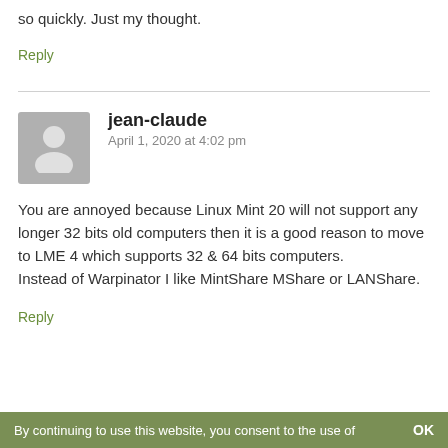place to another and hire the Sy-Fy transporter. It does so quickly. Just my thought.
Reply
jean-claude
April 1, 2020 at 4:02 pm
You are annoyed because Linux Mint 20 will not support any longer 32 bits old computers then it is a good reason to move to LME 4 which supports 32 & 64 bits computers. Instead of Warpinator I like MintShare MShare or LANShare.
Reply
By continuing to use this website, you consent to the use of    OK